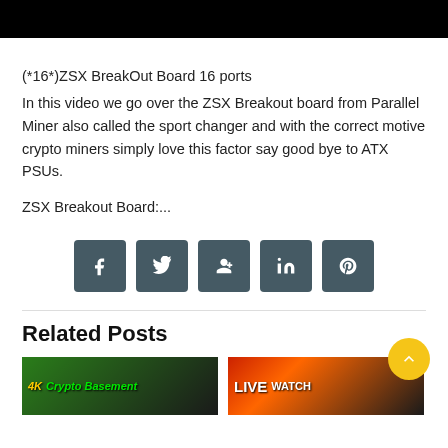[Figure (photo): Black video thumbnail bar at top of page]
(*16*)ZSX BreakOut Board 16 ports
In this video we go over the ZSX Breakout board from Parallel Miner also called the sport changer and with the correct motive crypto miners simply love this factor say good bye to ATX PSUs.
ZSX Breakout Board:...
[Figure (infographic): Social share buttons row: Facebook, Twitter, Google+, LinkedIn, Pinterest]
Related Posts
[Figure (photo): Thumbnail: 4K Crypto Basement]
[Figure (photo): Thumbnail: LIVE WATCH]